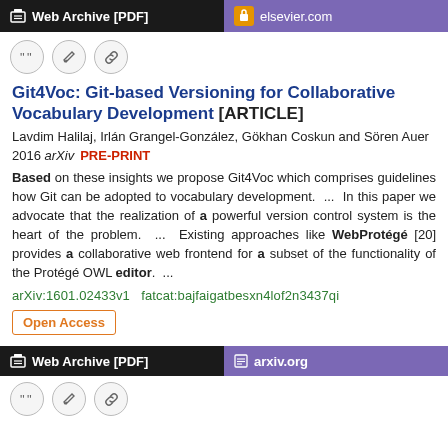Web Archive [PDF]   elsevier.com
[Figure (other): Three icon buttons: quote, edit, link]
Git4Voc: Git-based Versioning for Collaborative Vocabulary Development [ARTICLE]
Lavdim Halilaj, Irlán Grangel-González, Gökhan Coskun and Sören Auer
2016 arXiv  PRE-PRINT
Based on these insights we propose Git4Voc which comprises guidelines how Git can be adopted to vocabulary development.  ...  In this paper we advocate that the realization of a powerful version control system is the heart of the problem.  ...  Existing approaches like WebProtégé [20] provides a collaborative web frontend for a subset of the functionality of the Protégé OWL editor.  ...
arXiv:1601.02433v1  fatcat:bajfaigatbesxn4lof2n3437qi
Open Access
Web Archive [PDF]   arxiv.org
[Figure (other): Three icon buttons: quote, edit, link]